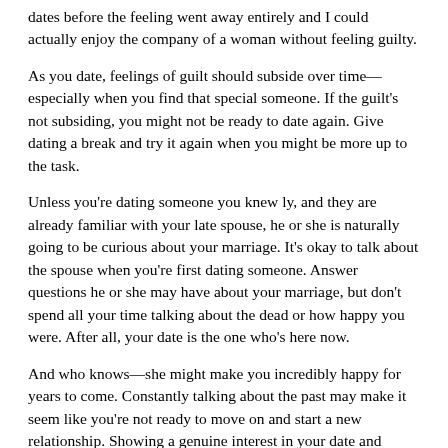dates before the feeling went away entirely and I could actually enjoy the company of a woman without feeling guilty.
As you date, feelings of guilt should subside over time—especially when you find that special someone. If the guilt's not subsiding, you might not be ready to date again. Give dating a break and try it again when you might be more up to the task.
Unless you're dating someone you knew ly, and they are already familiar with your late spouse, he or she is naturally going to be curious about your marriage. It's okay to talk about the spouse when you're first dating someone. Answer questions he or she may have about your marriage, but don't spend all your time talking about the dead or how happy you were. After all, your date is the one who's here now.
And who knows—she might make you incredibly happy for years to come. Constantly talking about the past may make it seem like you're not ready to move on and start a new relationship. Showing a genuine interest in your date and getting to know her wants, interests, and dreams goes a long way you're ready to start a new life with someone else. Would you like going out with someone who constantly talks about issues she's having in her life? Dating isn't a therapy session—it's an opportunity to spend time with someone else and enjoy their company.